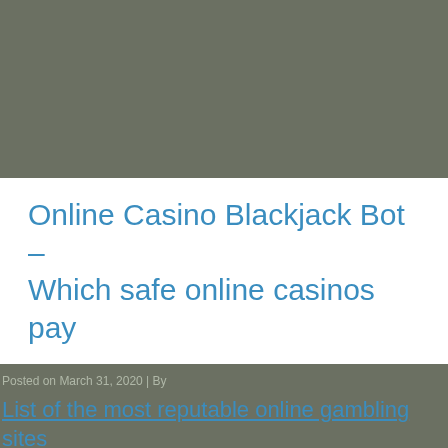[Figure (other): Dark olive/grey banner area at top of page]
Online Casino Blackjack Bot – Which safe online casinos pay
Posted on March 31, 2020  |  By
List of the most reputable online gambling sites
Online casinos are also vulnerable to certain cheating methods. can claim 90% up to R5000 three times. The game's top prizes